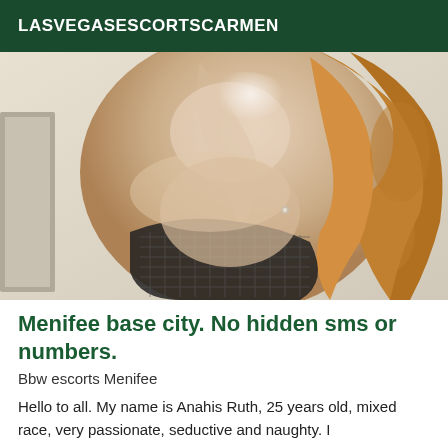LASVEGASESCORTSCARMEN
[Figure (photo): A woman with curly reddish-blonde hair wearing a black fishnet top, photographed from below/side angle indoors.]
Menifee base city. No hidden sms or numbers.
Bbw escorts Menifee
Hello to all. My name is Anahis Ruth, 25 years old, mixed race, very passionate, seductive and naughty. I